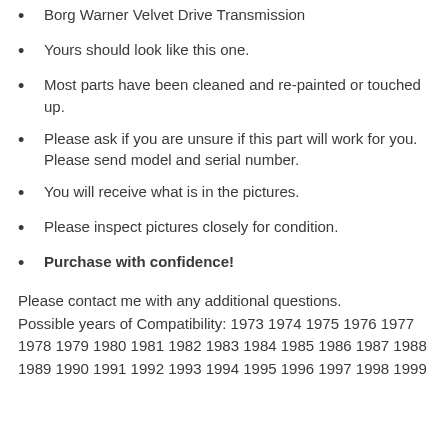Borg Warner Velvet Drive Transmission
Yours should look like this one.
Most parts have been cleaned and re-painted or touched up.
Please ask if you are unsure if this part will work for you. Please send model and serial number.
You will receive what is in the pictures.
Please inspect pictures closely for condition.
Purchase with confidence!
Please contact me with any additional questions.
Possible years of Compatibility: 1973 1974 1975 1976 1977 1978 1979 1980 1981 1982 1983 1984 1985 1986 1987 1988 1989 1990 1991 1992 1993 1994 1995 1996 1997 1998 1999